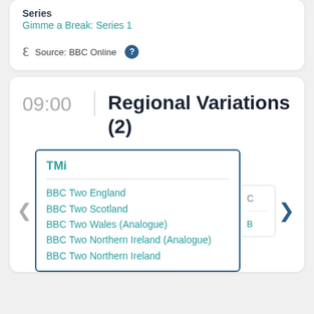Children's / Factual
Series
Gimme a Break: Series 1
Source: BBC Online
09:00
Regional Variations (2)
TMi
BBC Two England
BBC Two Scotland
BBC Two Wales (Analogue)
BBC Two Northern Ireland (Analogue)
BBC Two Northern Ireland